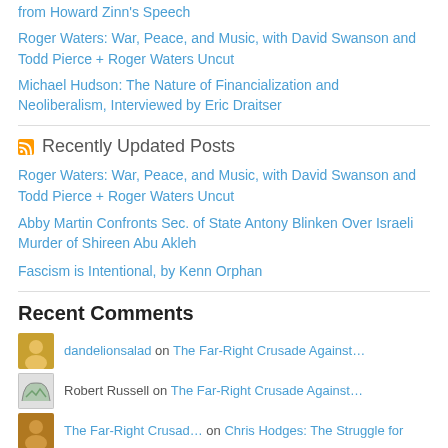from Howard Zinn's Speech
Roger Waters: War, Peace, and Music, with David Swanson and Todd Pierce + Roger Waters Uncut
Michael Hudson: The Nature of Financialization and Neoliberalism, Interviewed by Eric Draitser
Recently Updated Posts
Roger Waters: War, Peace, and Music, with David Swanson and Todd Pierce + Roger Waters Uncut
Abby Martin Confronts Sec. of State Antony Blinken Over Israeli Murder of Shireen Abu Akleh
Fascism is Intentional, by Kenn Orphan
Recent Comments
dandelionsalad on The Far-Right Crusade Against…
Robert Russell on The Far-Right Crusade Against…
The Far-Right Crusad… on Chris Hodges: The Struggle for